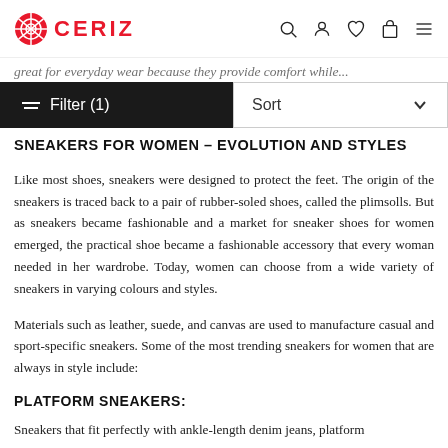CERIZ
great for everyday wear because they provide comfort while...
Filter (1)   Sort
SNEAKERS FOR WOMEN – EVOLUTION AND STYLES
Like most shoes, sneakers were designed to protect the feet. The origin of the sneakers is traced back to a pair of rubber-soled shoes, called the plimsolls. But as sneakers became fashionable and a market for sneaker shoes for women emerged, the practical shoe became a fashionable accessory that every woman needed in her wardrobe. Today, women can choose from a wide variety of sneakers in varying colours and styles.
Materials such as leather, suede, and canvas are used to manufacture casual and sport-specific sneakers. Some of the most trending sneakers for women that are always in style include:
PLATFORM SNEAKERS:
Sneakers that fit perfectly with ankle-length denim jeans, platform